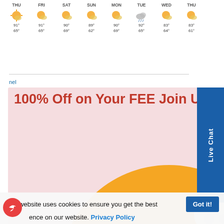[Figure (other): Weather forecast widget showing 8 days (THU through THU) with sun/cloud icons and high/low temperatures]
nel
100% Off on Your FEE Join US! Ask Me How?
[Figure (illustration): Chat/conversation illustration with colorful speech bubbles (purple, red) on an orange circle background with a question mark icon on a pink background]
Live Chat
This website uses cookies to ensure you get the best experience on our website. Privacy Policy
Got it!